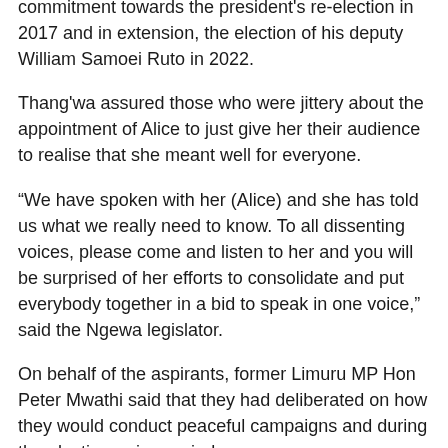commitment towards the president's re-election in 2017 and in extension, the election of his deputy William Samoei Ruto in 2022.
Thang'wa assured those who were jittery about the appointment of Alice to just give her their audience to realise that she meant well for everyone.
“We have spoken with her (Alice) and she has told us what we really need to know. To all dissenting voices, please come and listen to her and you will be surprised of her efforts to consolidate and put everybody together in a bid to speak in one voice,” said the Ngewa legislator.
On behalf of the aspirants, former Limuru MP Hon Peter Mwathi said that they had deliberated on how they would conduct peaceful campaigns and during the electioneering period.
“One of the agenda of this meeting was how as aspirants we are going to take the peace message to our people so that we don’t antagonise each other and how we are going to